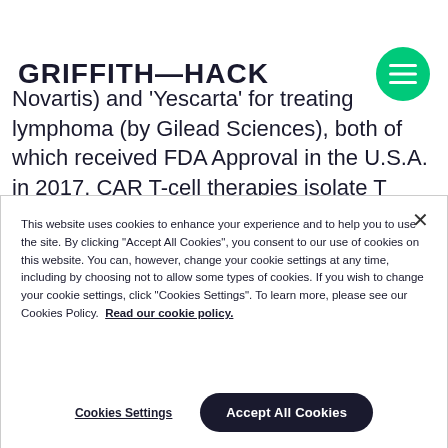GRIFFITH—HACK
Novartis) and 'Yescarta' for treating lymphoma (by Gilead Sciences), both of which received FDA Approval in the U.S.A. in 2017. CAR T-cell therapies isolate T cells (a type of immune cell) from a patient suffering from cancer, genetically edit these T cells in
This website uses cookies to enhance your experience and to help you to use the site. By clicking "Accept All Cookies", you consent to our use of cookies on this website. You can, however, change your cookie settings at any time, including by choosing not to allow some types of cookies. If you wish to change your cookie settings, click "Cookies Settings". To learn more, please see our Cookies Policy. Read our cookie policy.
Cookies Settings
Accept All Cookies